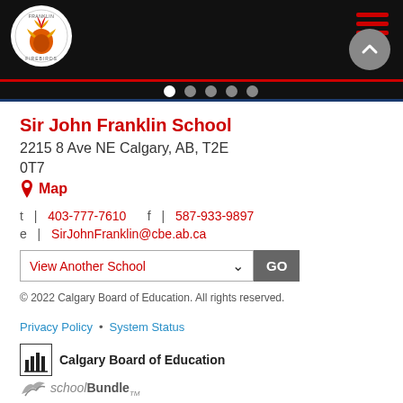[Figure (logo): Franklin Firebirds school logo — phoenix bird in a circle on black header background]
[Figure (other): Hamburger menu icon with three red horizontal bars in top right of black header]
[Figure (other): Carousel dot indicators — one white (active) and four grey dots]
Sir John Franklin School
2215 8 Ave NE Calgary, AB, T2E 0T7
Map
t | 403-777-7610    f | 587-933-9897
e | SirJohnFranklin@cbe.ab.ca
View Another School  GO
© 2022 Calgary Board of Education. All rights reserved.
Privacy Policy • System Status
[Figure (logo): Calgary Board of Education logo — building/pillars icon with text 'Calgary Board of Education']
[Figure (logo): schoolBundle logo — bird/eagle icon with 'schoolBundle' text]